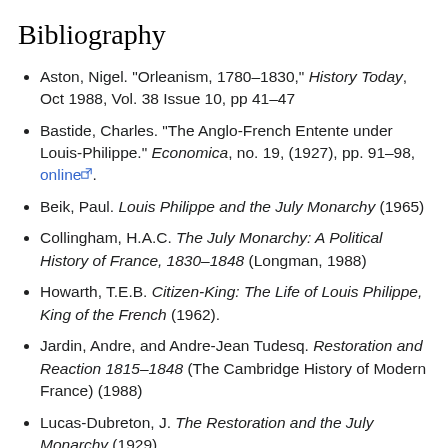Bibliography
Aston, Nigel. "Orleanism, 1780–1830," History Today, Oct 1988, Vol. 38 Issue 10, pp 41–47
Bastide, Charles. "The Anglo-French Entente under Louis-Philippe." Economica, no. 19, (1927), pp. 91–98, online.
Beik, Paul. Louis Philippe and the July Monarchy (1965)
Collingham, H.A.C. The July Monarchy: A Political History of France, 1830–1848 (Longman, 1988)
Howarth, T.E.B. Citizen-King: The Life of Louis Philippe, King of the French (1962).
Jardin, Andre, and Andre-Jean Tudesq. Restoration and Reaction 1815–1848 (The Cambridge History of Modern France) (1988)
Lucas-Dubreton, J. The Restoration and the July Monarchy (1929)
Newman, Edgar Leon, and Robert Lawrence Simpson. Historical Dictionary of France from the 1815 Restoration to the Second Empire (Greenwood